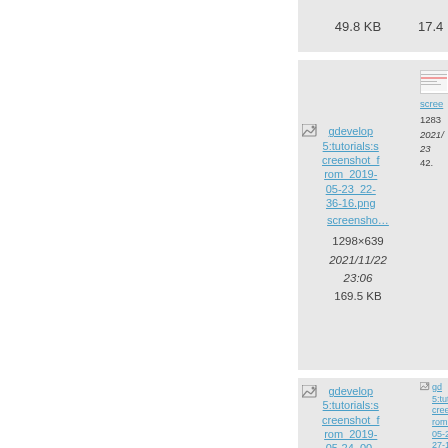49.8 KB
17.4
[Figure (screenshot): File thumbnail for gdevelop5:tutorials:screenshot_from_2019-05-23_22-36-16.png with broken image icon]
gdevelop5:tutorials:screenshot_from_2019-05-23_22-36-16.png
screensho...
1298×639
2021/11/22 23:06
169.5 KB
[Figure (screenshot): Partial screenshot thumbnail on right side]
scree...
1283
2021/
23
42.
[Figure (screenshot): File thumbnail for gdevelop5:tutorials:screenshot_from_2019-05-24_00-12-11.png with broken image icon]
gdevelop5:tutorials:screenshot_from_2019-05-24_00-12-11.png
screensho...
1287×912
[Figure (screenshot): Partial right cell showing gdevelop5:tutorials:screenshot_from_2019-05-24_00-27-1... with truncated info]
gd
5:tuto
cree
rom_
05-2
27-1
scree...
1283